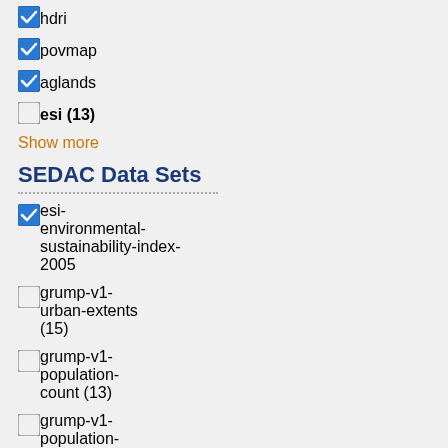hdri (checked)
povmap (checked)
aglands (checked)
esi (13) (unchecked)
Show more
SEDAC Data Sets
esi-environmental-sustainability-index-2005 (checked)
grump-v1-urban-extents (15) (unchecked)
grump-v1-population-count (13) (unchecked)
grump-v1-population-density (12) (unchecked)